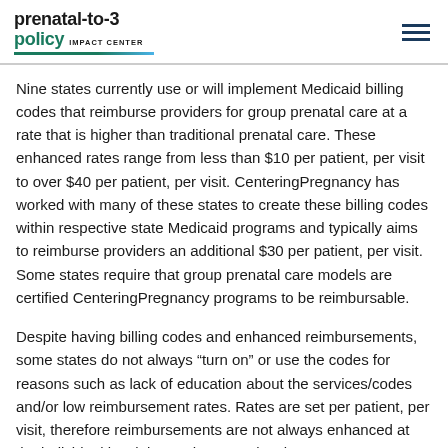prenatal-to-3 policy IMPACT CENTER
Nine states currently use or will implement Medicaid billing codes that reimburse providers for group prenatal care at a rate that is higher than traditional prenatal care. These enhanced rates range from less than $10 per patient, per visit to over $40 per patient, per visit. CenteringPregnancy has worked with many of these states to create these billing codes within respective state Medicaid programs and typically aims to reimburse providers an additional $30 per patient, per visit. Some states require that group prenatal care models are certified CenteringPregnancy programs to be reimbursable.
Despite having billing codes and enhanced reimbursements, some states do not always “turn on” or use the codes for reasons such as lack of education about the services/codes and/or low reimbursement rates. Rates are set per patient, per visit, therefore reimbursements are not always enhanced at the individual level, but at the group level.